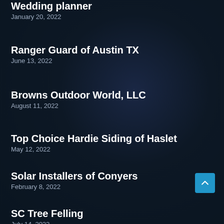Wedding planner
January 20, 2022
Ranger Guard of Austin TX
June 13, 2022
Browns Outdoor World, LLC
August 11, 2022
Top Choice Hardie Siding of Haslet
May 12, 2022
Solar Installers of Conyers
February 8, 2022
SC Tree Felling
July 14, 2022